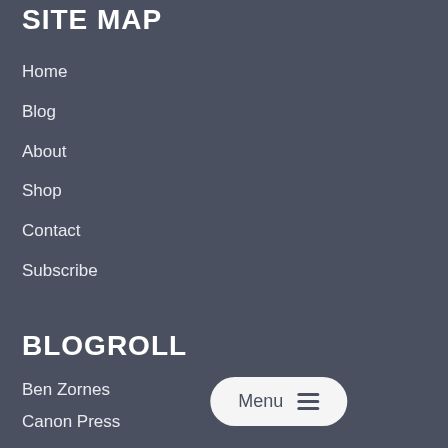SITE MAP
Home
Blog
About
Shop
Contact
Subscribe
BLOGROLL
Ben Zornes
Canon Press